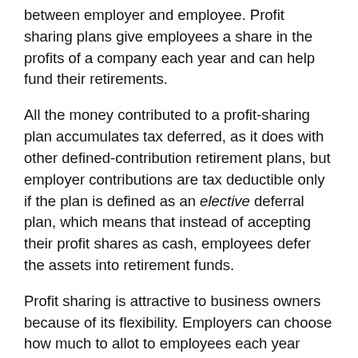between employer and employee. Profit sharing plans give employees a share in the profits of a company each year and can help fund their retirements.
All the money contributed to a profit-sharing plan accumulates tax deferred, as it does with other defined-contribution retirement plans, but employer contributions are tax deductible only if the plan is defined as an elective deferral plan, which means that instead of accepting their profit shares as cash, employees defer the assets into retirement funds.
Profit sharing is attractive to business owners because of its flexibility. Employers can choose how much to allot to employees each year based on the amount of revenue taken in. There is no required minimum. If the company has a bad year, the employer has the option of giving very little or nothing at all to employee accounts.
Employees are usually enrolled automatically in profit sharing once they become eligible. Companies can choose eligibility requirements based on age and length of